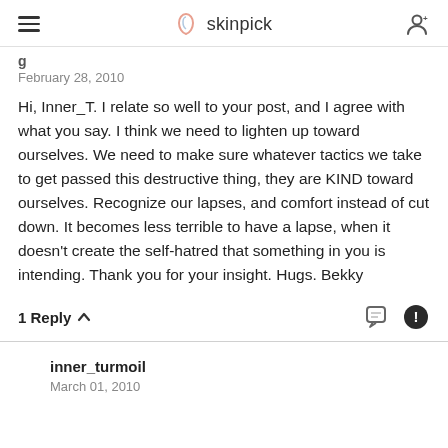skinpick
February 28, 2010
Hi, Inner_T. I relate so well to your post, and I agree with what you say. I think we need to lighten up toward ourselves. We need to make sure whatever tactics we take to get passed this destructive thing, they are KIND toward ourselves. Recognize our lapses, and comfort instead of cut down. It becomes less terrible to have a lapse, when it doesn't create the self-hatred that something in you is intending. Thank you for your insight. Hugs. Bekky
1 Reply
inner_turmoil
March 01, 2010